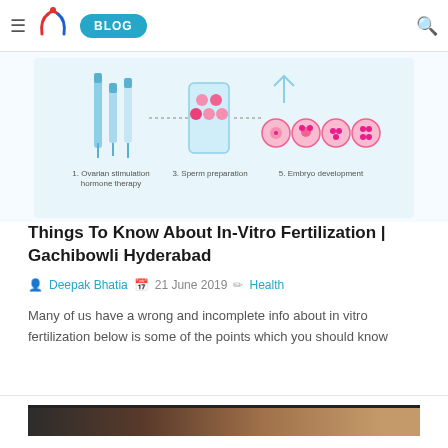≡ SMI BLOG 🔍
[Figure (infographic): IVF process infographic showing steps: 1. Ovarian stimulation hormone therapy, 3. Sperm preparation, 5. Embryo development with illustrated icons on light blue background]
Things To Know About In-Vitro Fertilization | Gachibowli Hyderabad
Deepak Bhatia  21 June 2019  Health
Many of us have a wrong and incomplete info about in vitro fertilization below is some of the points which you should know